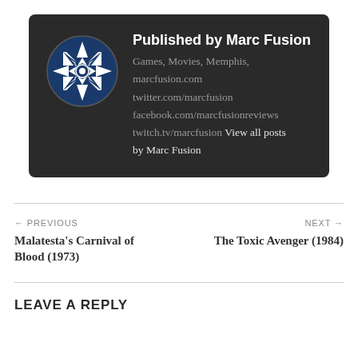[Figure (other): Author bio card with dark background. Contains a circular logo (blue and white geometric pattern) on the left, and on the right: bold title 'Published by Marc Fusion', followed by gray text listing: 'Games, Movies, Memphis, marcfusion.com, twitter.com/marcfusion, facebook.com/marcfusionreviews, twitch.tv/marcfusion View all posts by Marc Fusion'.]
← PREVIOUS
Malatesta's Carnival of Blood (1973)
NEXT →
The Toxic Avenger (1984)
LEAVE A REPLY